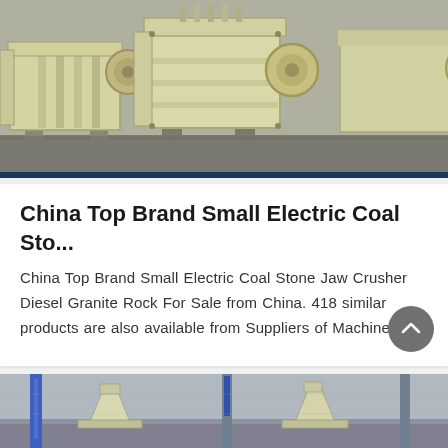[Figure (photo): Industrial jaw crusher machines painted cream/yellow color, photographed in a factory/warehouse setting. Multiple large crusher units visible side by side on a concrete floor.]
China Top Brand Small Electric Coal Sto...
China Top Brand Small Electric Coal Stone Jaw Crusher Diesel Granite Rock For Sale from China. 418 similar products are also available from Suppliers of Machinery
[Figure (photo): Cone crusher machines in a factory or outdoor industrial setting, with blue signage visible. Large yellow/cream cone-shaped crusher units visible.]